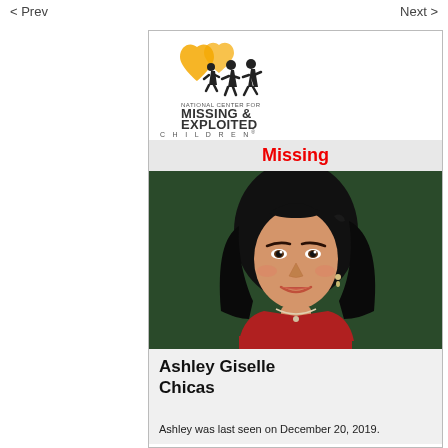< Prev    Next >
[Figure (logo): National Center for Missing & Exploited Children logo with yellow heart and silhouetted children figures]
Missing
[Figure (photo): Photo of Ashley Giselle Chicas, a young woman with dark hair wearing a red top and necklace]
Ashley Giselle Chicas
Ashley was last seen on December 20, 2019.